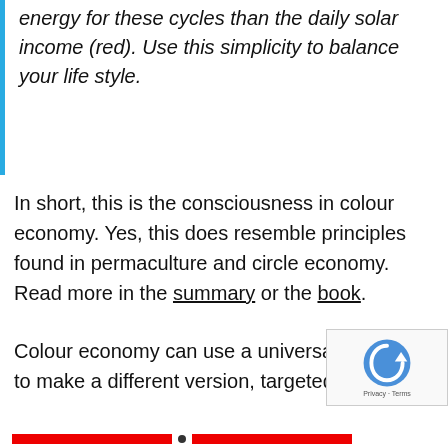energy for these cycles than the daily solar income (red). Use this simplicity to balance your life style.
In short, this is the consciousness in colour economy. Yes, this does resemble principles found in permaculture and circle economy. Read more in the summary or the book.
Colour economy can use a universal RGB-system based on sun flower oil. However, it is quite easy to make a different version, targeted at a region, target group or a specific core product.